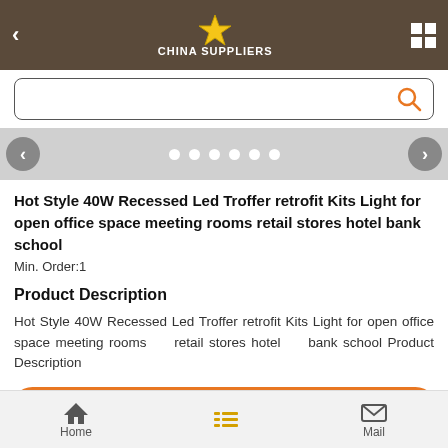China Suppliers
[Figure (screenshot): Search bar with orange search icon]
[Figure (screenshot): Carousel navigation strip with left/right arrows and 6 white dot indicators]
Hot Style 40W Recessed Led Troffer retrofit Kits Light for open office space meeting rooms retail stores hotel bank school
Min. Order:1
Product Description
Hot Style 40W Recessed Led Troffer retrofit Kits Light for open office space meeting rooms retail stores hotel bank school Product Description
Contact Now
Home  Mail